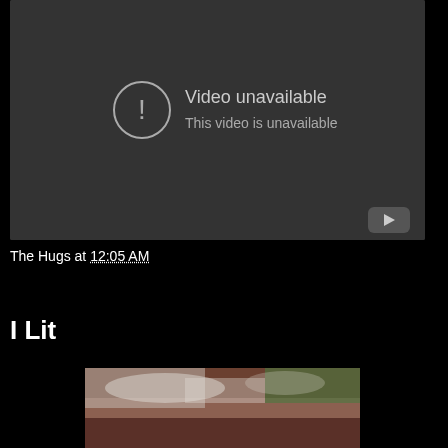[Figure (screenshot): Video unavailable placeholder with dark background, exclamation icon in circle, text 'Video unavailable' and 'This video is unavailable', YouTube logo in bottom right corner]
The Hugs at 12:05 AM
I Lit
[Figure (photo): Partial photo showing outdoor scene with snow and reddish/brown tones, partially visible at bottom of page]